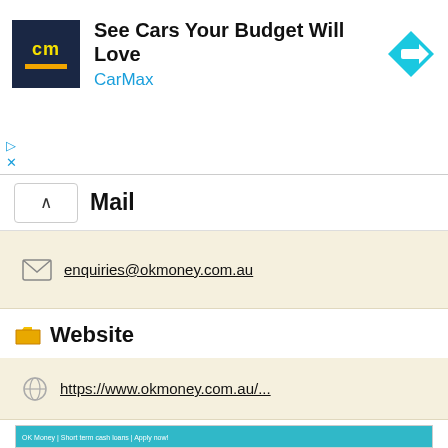[Figure (screenshot): CarMax advertisement banner with logo, 'See Cars Your Budget Will Love' headline, CarMax brand name in blue, and a directional sign icon]
Mail
enquiries@okmoney.com.au
Website
https://www.okmoney.com.au/...
[Figure (screenshot): OK Money website screenshot showing logo with tagline 'many loans for many needs', FIND A STORE and APPLY NOW buttons, navigation menu with Home, Our Loans, Why Use Us, FAQ, Contact Us, phone number starting with 1300, and a teal hero banner with line art icons of globe, motorbike, camera, plane, and online screen]